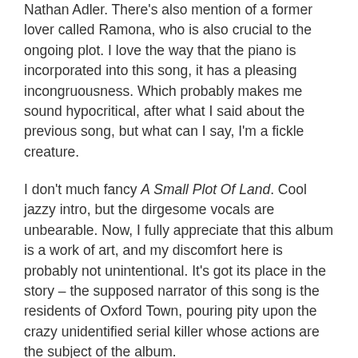Nathan Adler. There's also mention of a former lover called Ramona, who is also crucial to the ongoing plot. I love the way that the piano is incorporated into this song, it has a pleasing incongruousness. Which probably makes me sound hypocritical, after what I said about the previous song, but what can I say, I'm a fickle creature.
I don't much fancy A Small Plot Of Land. Cool jazzy intro, but the dirgesome vocals are unbearable. Now, I fully appreciate that this album is a work of art, and my discomfort here is probably not unintentional. It's got its place in the story – the supposed narrator of this song is the residents of Oxford Town, pouring pity upon the crazy unidentified serial killer whose actions are the subject of the album.
Next up is one of the weird segue pieces which takes the form of a recording by fourteen-year old Grace. She has a weird voice (which is really Bowie through some weird filters, but you could probably guess that) and can't think straight, and it is revealed that Ramona (remember Ramona?) has put her on some drugs.